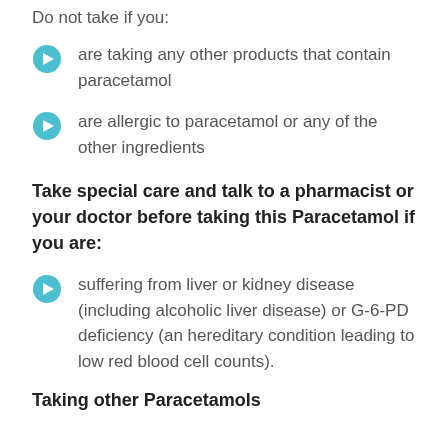Do not take if you:
are taking any other products that contain paracetamol
are allergic to paracetamol or any of the other ingredients
Take special care and talk to a pharmacist or your doctor before taking this Paracetamol if you are:
suffering from liver or kidney disease (including alcoholic liver disease) or G-6-PD deficiency (an hereditary condition leading to low red blood cell counts).
Taking other Paracetamols